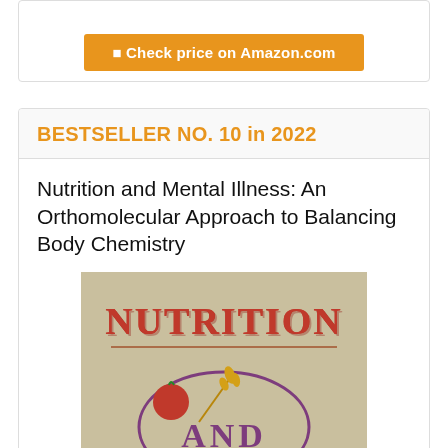[Figure (screenshot): Orange 'Check price on Amazon.com' button inside a white card with border]
BESTSELLER NO. 10 in 2022
Nutrition and Mental Illness: An Orthomolecular Approach to Balancing Body Chemistry
[Figure (photo): Book cover of 'Nutrition and Mental Illness' showing large red text NUTRITION and purple text AND on a tan/beige background with decorative tomato, wheat, and circular elements]